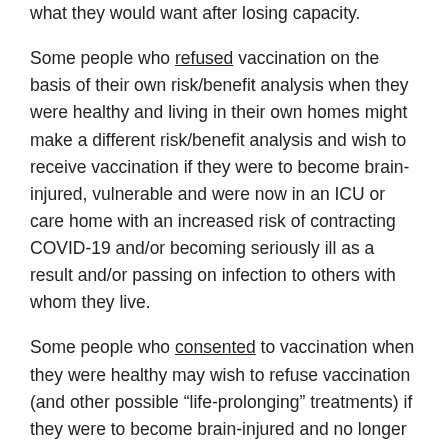what they would want after losing capacity.
Some people who refused vaccination on the basis of their own risk/benefit analysis when they were healthy and living in their own homes might make a different risk/benefit analysis and wish to receive vaccination if they were to become brain-injured, vulnerable and were now in an ICU or care home with an increased risk of contracting COVID-19 and/or becoming seriously ill as a result and/or passing on infection to others with whom they live.
Some people who consented to vaccination when they were healthy may wish to refuse vaccination (and other possible “life-prolonging” treatments) if they were to become brain-injured and no longer able to enjoy (what for them is) “quality of life”.  Any opportunity for an ‘early exit’ from that scenario – even the prospect of